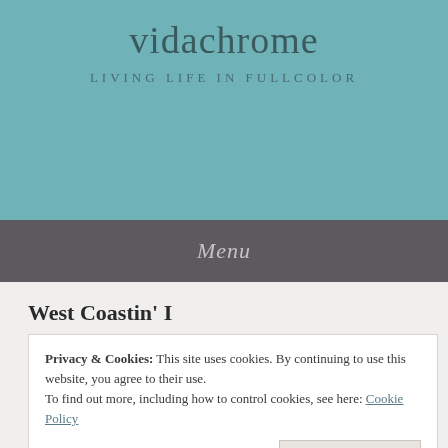vidachrome
LIVING LIFE IN FULLCOLOR
Menu
West Coastin' I
Privacy & Cookies:  This site uses cookies. By continuing to use this website, you agree to their use.
To find out more, including how to control cookies, see here: Cookie Policy
Close and accept